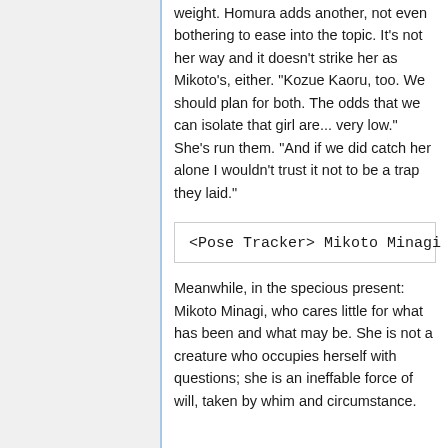weight. Homura adds another, not even bothering to ease into the topic. It's not her way and it doesn't strike her as Mikoto's, either. "Kozue Kaoru, too. We should plan for both. The odds that we can isolate that girl are... very low." She's run them. "And if we did catch her alone I wouldn't trust it not to be a trap they laid."
<Pose Tracker> Mikoto Minagi [O
Meanwhile, in the specious present: Mikoto Minagi, who cares little for what has been and what may be. She is not a creature who occupies herself with questions; she is an ineffable force of will, taken by whim and circumstance.